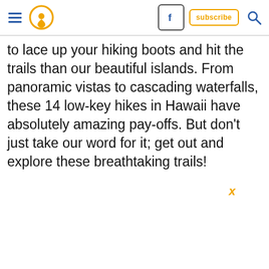Navigation header with hamburger menu, pin icon, Facebook button, subscribe button, and search icon
to lace up your hiking boots and hit the trails than our beautiful islands. From panoramic vistas to cascading waterfalls, these 14 low-key hikes in Hawaii have absolutely amazing pay-offs. But don't just take our word for it; get out and explore these breathtaking trails!
x